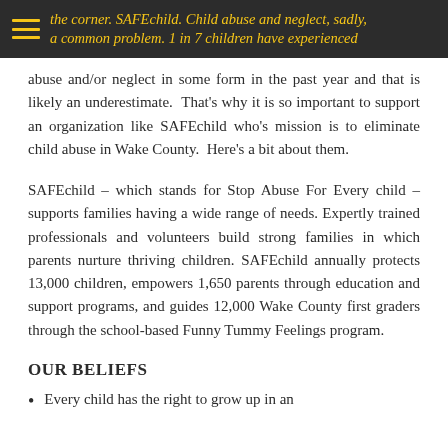the corner. SAFEchild. Child abuse and neglect, sadly, a common problem. 1 in 7 children have experienced
abuse and/or neglect in some form in the past year and that is likely an underestimate. That's why it is so important to support an organization like SAFEchild who's mission is to eliminate child abuse in Wake County. Here's a bit about them.
SAFEchild – which stands for Stop Abuse For Every child – supports families having a wide range of needs. Expertly trained professionals and volunteers build strong families in which parents nurture thriving children. SAFEchild annually protects 13,000 children, empowers 1,650 parents through education and support programs, and guides 12,000 Wake County first graders through the school-based Funny Tummy Feelings program.
OUR BELIEFS
Every child has the right to grow up in an